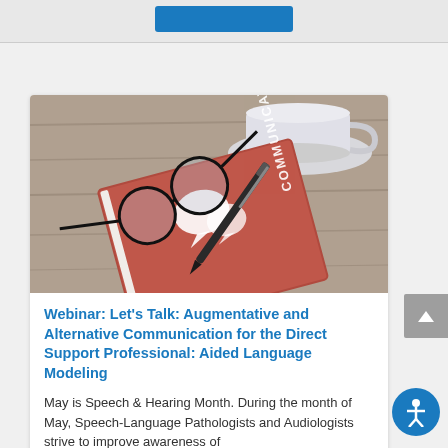[Figure (photo): Photo of a red notebook labeled COMMUNICATION with speech bubble icons, a pen, eyeglasses, and a white coffee cup on a wooden table]
Webinar: Let's Talk: Augmentative and Alternative Communication for the Direct Support Professional: Aided Language Modeling
May is Speech & Hearing Month. During the month of May, Speech-Language Pathologists and Audiologists strive to improve awareness of